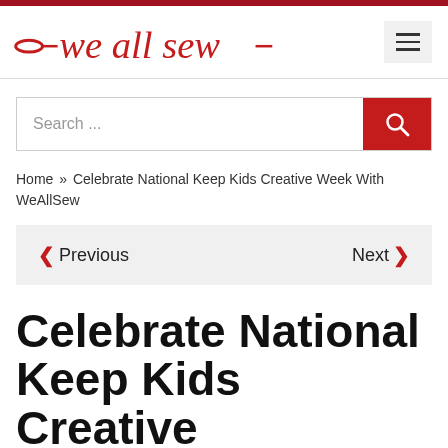we all sew
Search ...
Home » Celebrate National Keep Kids Creative Week With WeAllSew
< Previous   Next >
Celebrate National Keep Kids Creative Week With